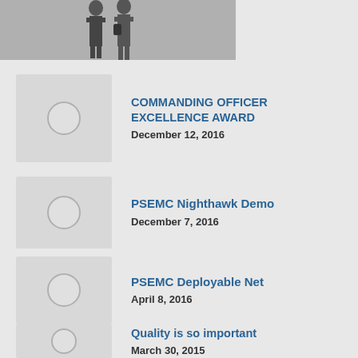[Figure (photo): Top partial image showing two people standing, photo cropped]
COMMANDING OFFICER EXCELLENCE AWARD
December 12, 2016
PSEMC Nighthawk Demo
December 7, 2016
PSEMC Deployable Net
April 8, 2016
Quality is so important
March 30, 2015